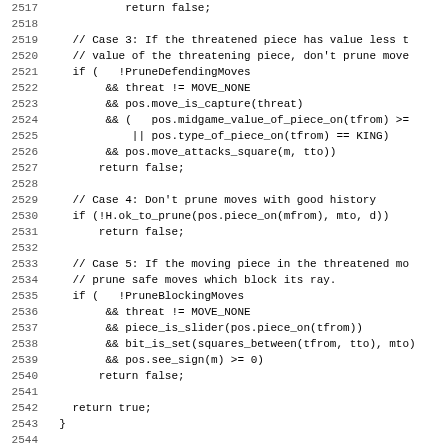Source code listing, lines 2517–2548, showing C++ chess engine logic for pruning moves.